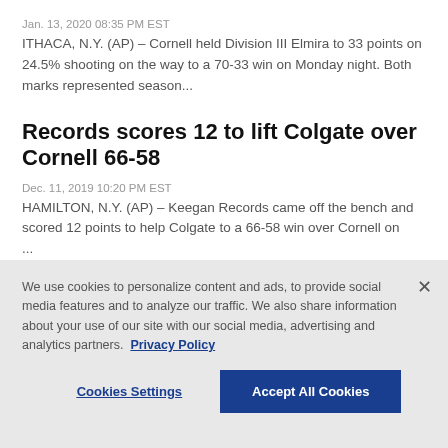Jan. 13, 2020 08:35 PM EST
ITHACA, N.Y. (AP) – Cornell held Division III Elmira to 33 points on 24.5% shooting on the way to a 70-33 win on Monday night. Both marks represented season...
Records scores 12 to lift Colgate over Cornell 66-58
Dec. 11, 2019 10:20 PM EST
HAMILTON, N.Y. (AP) – Keegan Records came off the bench and scored 12 points to help Colgate to a 66-58 win over Cornell on ...
We use cookies to personalize content and ads, to provide social media features and to analyze our traffic. We also share information about your use of our site with our social media, advertising and analytics partners. Privacy Policy
Cookies Settings    Accept All Cookies